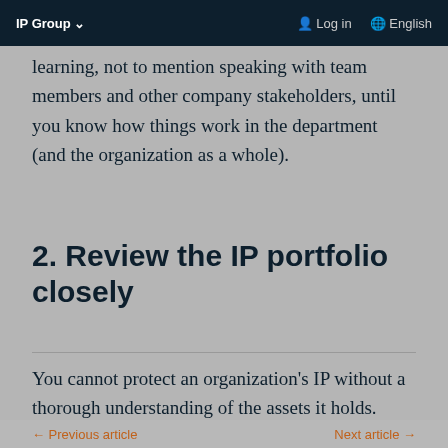IP Group ∨   Log in   English
learning, not to mention speaking with team members and other company stakeholders, until you know how things work in the department (and the organization as a whole).
2. Review the IP portfolio closely
You cannot protect an organization's IP without a thorough understanding of the assets it holds. Receive a comprehensive overview that covers
← Previous article   Next article →